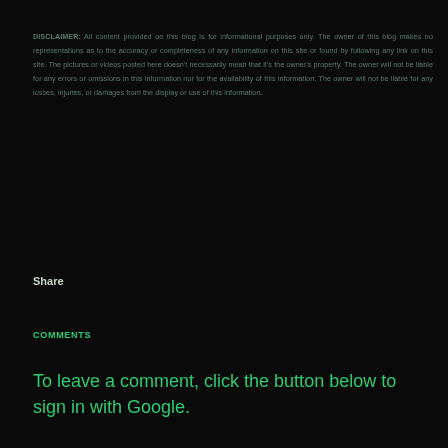DISCLAIMER: All content provided on this blog is for informational purposes only. The owner of this blog makes no representations as to the accuracy or completeness of any information on this site or found by following any link on this site. The pictures or videos posted here doesn't necessarily mean that it's the owner's property. The owner will not be liable for any errors or omissions in this information nor for the availability of this information. The owner will not be liable for any losses, injuries, or damages from the display or use of this information.
Share
COMMENTS
To leave a comment, click the button below to sign in with Google.